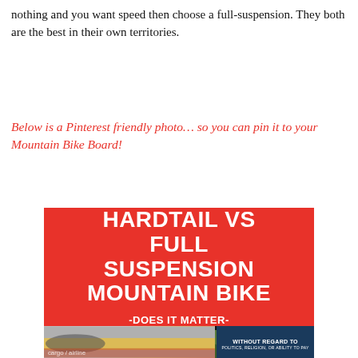nothing and you want speed then choose a full-suspension. They both are the best in their own territories.
Below is a Pinterest friendly photo… so you can pin it to your Mountain Bike Board!
[Figure (infographic): Red banner infographic reading 'HARDTAIL VS FULL SUSPENSION MOUNTAIN BIKE -DOES IT MATTER-' with a forest/outdoor photo strip below and advertisement banners at the bottom]